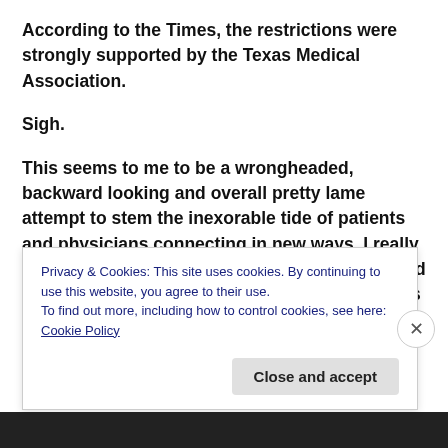According to the Times, the restrictions were strongly supported by the Texas Medical Association.
Sigh.
This seems to me to be a wrongheaded, backward looking and overall pretty lame attempt to stem the inexorable tide of patients and physicians connecting in new ways. I really wish I could believe the Board member who said he voted for the new restriction because he was “terribly, terribly worried about the absence of responsibility and accountability” in electronic
Privacy & Cookies: This site uses cookies. By continuing to use this website, you agree to their use.
To find out more, including how to control cookies, see here: Cookie Policy
Close and accept